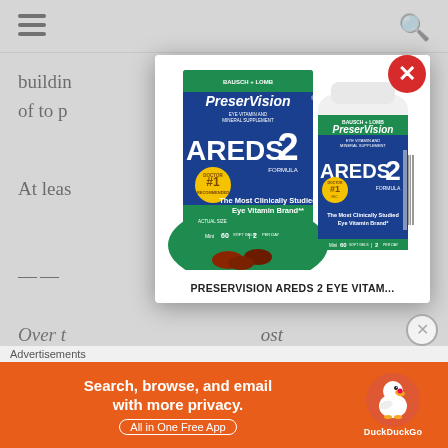buildin... think of to p...
At leas...
——
Over t... partici... most Office... zation numer...
[Figure (photo): Bausch + Lomb PreserVision AREDS 2 Eye Vitamin and Mineral Supplement product box and bottle, Mini 60 Soft Gels, 2 Per Day, Doctor #1 Recommended, The Most Clinically Studied Eye Vitamin Brand]
PRESERVISION AREDS 2 EYE VITAM...
Advertisements
[Figure (infographic): DuckDuckGo advertisement banner: Search, browse, and email with more privacy. All in One Free App. DuckDuckGo logo.]